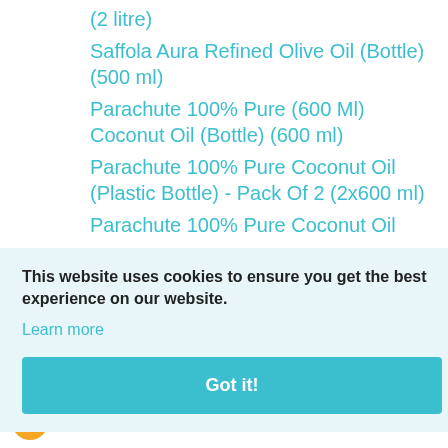(2 litre)
Saffola Aura Refined Olive Oil (Bottle) (500 ml)
Parachute 100% Pure (600 Ml) Coconut Oil (Bottle) (600 ml)
Parachute 100% Pure Coconut Oil (Plastic Bottle) - Pack Of 2 (2x600 ml)
Parachute 100% Pure Coconut Oil
This website uses cookies to ensure you get the best experience on our website.
Learn more
Got it!
REPLY
JUNE 21, 2022 AT 4:45 AM